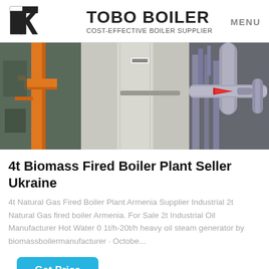TOBO BOILER COST-EFFECTIVE BOILER SUPPLIER | MENU
[Figure (photo): Industrial boiler plant interior showing orange pipes on the left, large silver/stainless steel cylindrical tank in the center, and metal piping with a red arrow indicator on the right]
4t Biomass Fired Boiler Plant Seller Ukraine
4t Natural Gas Fired Boiler Plant Armenia Supplier Industrial 2t Natural Gas fired boiler Armenia. For Sale 2t Industrial Oil Manufacturer Hot Water 0 1t/h-20t/h heavy oil steam generator by biomassboilermanufacturer · Octobe...
Get Price